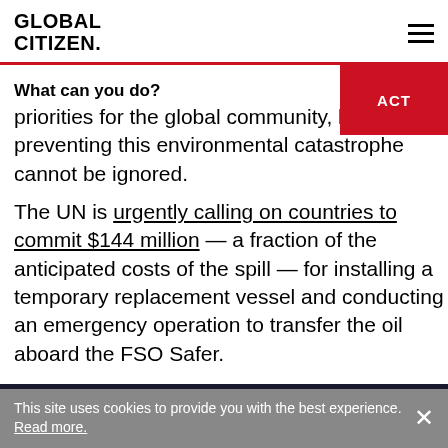GLOBAL CITIZEN
What can you do?
priorities for the global community, but preventing this environmental catastrophe cannot be ignored.
The UN is urgently calling on countries to commit $144 million — a fraction of the anticipated costs of the spill — for installing a temporary replacement vessel and conducting an emergency operation to transfer the oil aboard the FSO Safer.
[Figure (screenshot): Dark banner with UN logo circle and partial heading text, with expand icon]
This site uses cookies to provide you with the best experience. Read more.